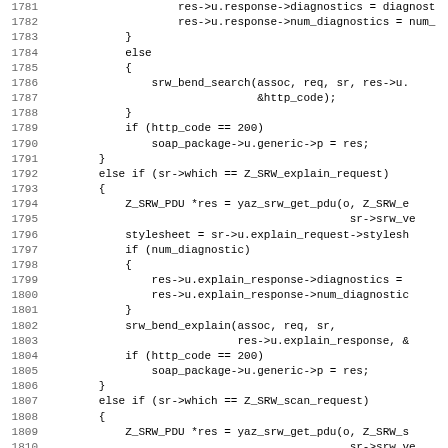[Figure (screenshot): Source code listing in C, lines 1781-1812, showing conditional logic for SRW request handling including search, explain, and scan request types with diagnostics and SOAP package assignments.]